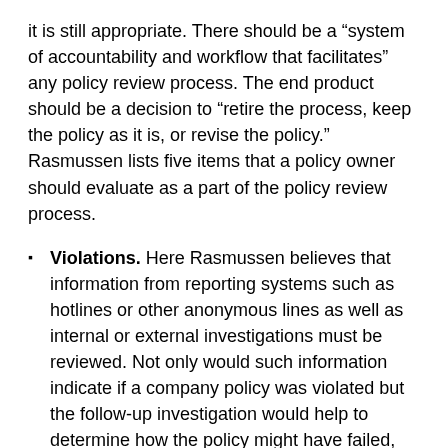it is still appropriate. There should be a “system of accountability and workflow that facilitates” any policy review process. The end product should be a decision to “retire the process, keep the policy as it is, or revise the policy.” Rasmussen lists five items that a policy owner should evaluate as a part of the policy review process.
Violations. Here Rasmussen believes that information from reporting systems such as hotlines or other anonymous lines as well as internal or external investigations must be reviewed. Not only would such information indicate if a company policy was violated but the follow-up investigation would help to determine how the policy might have failed, whether it was through “lack of awareness, unauthorized exceptions [or] outright violations.”
Understanding. Here Rasmussen writes that there...